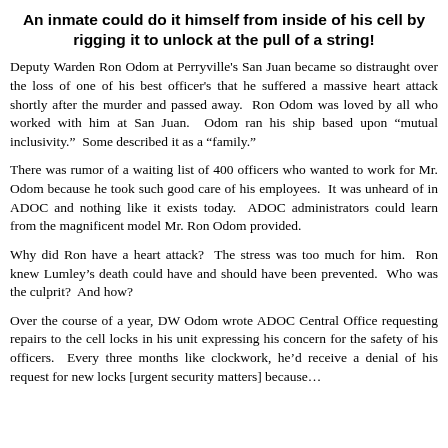An inmate could do it himself from inside of his cell by rigging it to unlock at the pull of a string!
Deputy Warden Ron Odom at Perryville's San Juan became so distraught over the loss of one of his best officer's that he suffered a massive heart attack shortly after the murder and passed away. Ron Odom was loved by all who worked with him at San Juan. Odom ran his ship based upon "mutual inclusivity." Some described it as a "family."
There was rumor of a waiting list of 400 officers who wanted to work for Mr. Odom because he took such good care of his employees. It was unheard of in ADOC and nothing like it exists today. ADOC administrators could learn from the magnificent model Mr. Ron Odom provided.
Why did Ron have a heart attack? The stress was too much for him. Ron knew Lumley's death could have and should have been prevented. Who was the culprit? And how?
Over the course of a year, DW Odom wrote ADOC Central Office requesting repairs to the cell locks in his unit expressing his concern for the safety of his officers. Every three months like clockwork, he'd receive a denial of his request for new locks [urgent security matters] because...